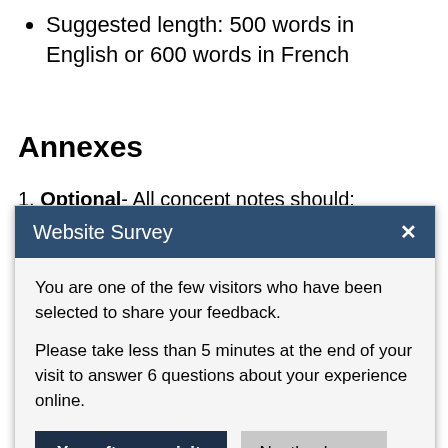Suggested length: 500 words in English or 600 words in French
Annexes
1. Optional- All concept notes should:
[Figure (screenshot): Website Survey modal dialog with header 'Website Survey' and close X button, body text 'You are one of the few visitors who have been selected to share your feedback. Please take less than 5 minutes at the end of your visit to answer 6 questions about your experience online.' and two buttons: 'Yes, after my visit.' (dark) and 'No, thank you.' (grey)]
Annex If you answered yes to all of the questions, please submit to the CRC Pilot...